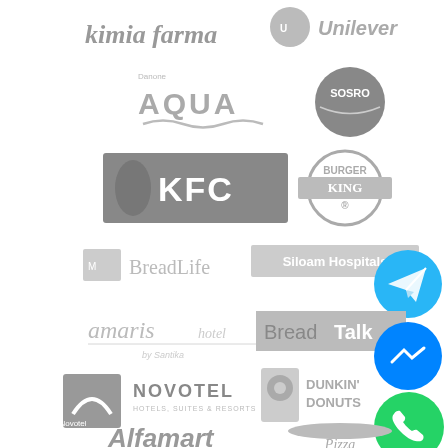[Figure (logo): Kimia Farma logo - italic text]
[Figure (logo): Unilever logo - circular brand mark]
[Figure (logo): Aqua (Danone) water brand logo]
[Figure (logo): Sosro beverage logo - circular dark badge]
[Figure (logo): KFC logo - dark rectangle with Colonel and KFC text]
[Figure (logo): Burger King logo - circular badge]
[Figure (logo): BreadLife bakery logo]
[Figure (logo): Siloam Hospitals logo]
[Figure (logo): Telegram messenger icon - blue circle with paper plane]
[Figure (logo): Amaris Hotel by Santika logo]
[Figure (logo): BreadTalk logo - grey rectangle]
[Figure (logo): Facebook Messenger icon - blue circle]
[Figure (logo): Novotel Hotels logo]
[Figure (logo): Dunkin Donuts logo]
[Figure (logo): WhatsApp icon - green circle]
[Figure (logo): Alfamart logo]
[Figure (logo): Pizza Hut logo - partial view]